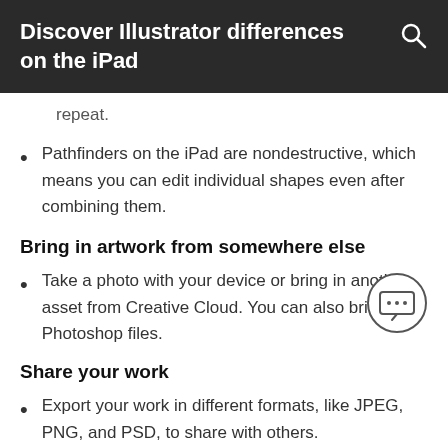Discover Illustrator differences on the iPad
repeat.
Pathfinders on the iPad are nondestructive, which means you can edit individual shapes even after combining them.
Bring in artwork from somewhere else
Take a photo with your device or bring in another asset from Creative Cloud. You can also bring in Photoshop files.
Share your work
Export your work in different formats, like JPEG, PNG, and PSD, to share with others.